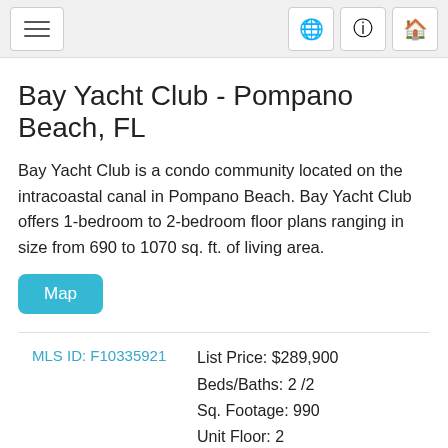≡  🌐  ℹ  🏠
Bay Yacht Club - Pompano Beach, FL
Bay Yacht Club is a condo community located on the intracoastal canal in Pompano Beach. Bay Yacht Club offers 1-bedroom to 2-bedroom floor plans ranging in size from 690 to 1070 sq. ft. of living area.
Map
MLS ID: F10335921
List Price: $289,900
Beds/Baths: 2 /2
Sq. Footage: 990
Unit Floor: 2
Days on Market: 80
MLS ID: F10334124
List Price: $375,000